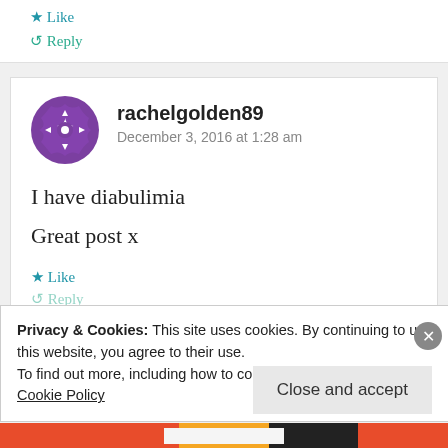★ Like
↺ Reply
rachelgolden89
December 3, 2016 at 1:28 am
I have diabulimia
Great post x
★ Like
↺ Reply
Privacy & Cookies: This site uses cookies. By continuing to use this website, you agree to their use.
To find out more, including how to control cookies, see here: Cookie Policy
Close and accept